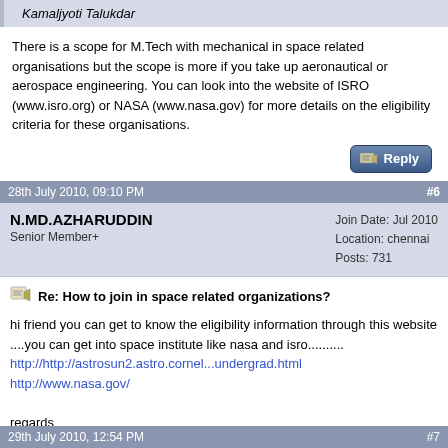Kamaljyoti Talukdar
There is a scope for M.Tech with mechanical in space related organisations but the scope is more if you take up aeronautical or aerospace engineering. You can look into the website of ISRO (www.isro.org) or NASA (www.nasa.gov) for more details on the eligibility criteria for these organisations.
28th July 2010, 09:10 PM   #6
N.MD.AZHARUDDIN
Senior Member+
Join Date: Jul 2010
Location: chennai
Posts: 731
Re: How to join in space related organizations?
hi friend you can get to know the eligibility information through this website ....you can get into space institute like nasa and isro..........
http://http://astrosun2.astro.cornel...undergrad.html
http://www.nasa.gov/

regards
azhar
29th July 2010, 12:54 PM   #7